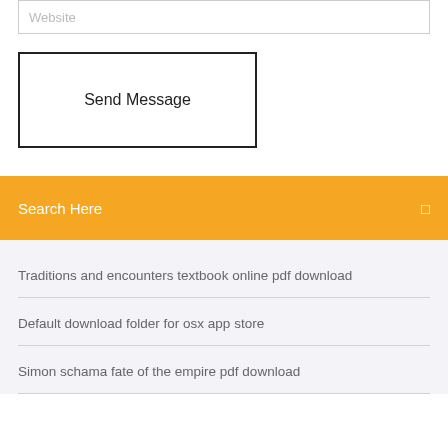Website
Send Message
Search Here
Traditions and encounters textbook online pdf download
Default download folder for osx app store
Simon schama fate of the empire pdf download